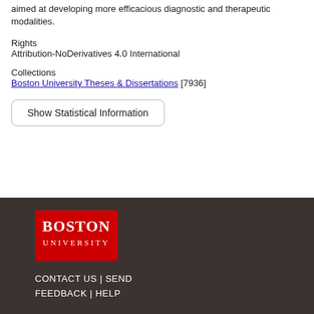aimed at developing more efficacious diagnostic and therapeutic modalities.
Rights
Attribution-NoDerivatives 4.0 International
Collections
Boston University Theses & Dissertations [7936]
Show Statistical Information
[Figure (logo): Boston University logo — red rectangle with 'BOSTON UNIVERSITY' text in white]
CONTACT US | SEND FEEDBACK | HELP